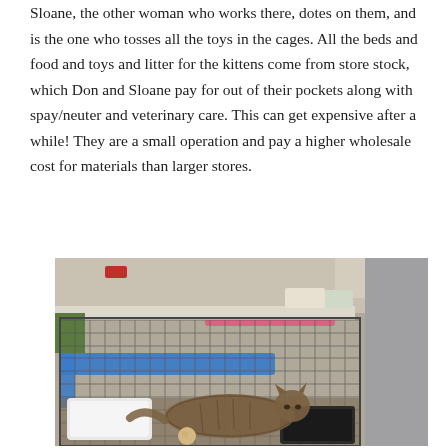Sloane, the other woman who works there, dotes on them, and is the one who tosses all the toys in the cages. All the beds and food and toys and litter for the kittens come from store stock, which Don and Sloane pay for out of their pockets along with spay/neuter and veterinary care. This can get expensive after a while! They are a small operation and pay a higher wholesale cost for materials than larger stores.
[Figure (photo): A tabby cat lying inside a metal wire cage in what appears to a pet store. The cage contains a white food/water dish, a dark litter box, and a round object on the floor. A blue tape or ribbon is attached to the side of the cage. In the background are store shelves and supplies.]